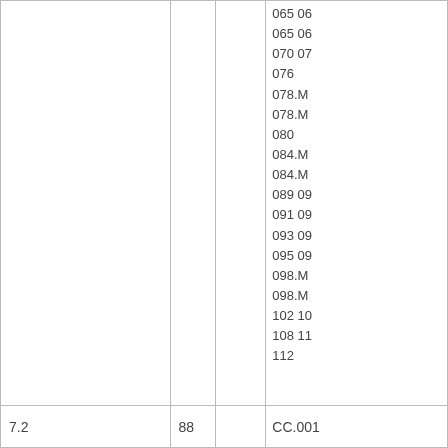|  |  |  | 065 06
065 06
070 07
076
078.M
078.M
080
084.M
084.M
089 09
091 09
093 09
095 09
098.M
098.M
102 10
108 11
112 |
| 7.2 | 88 | CC.001 |